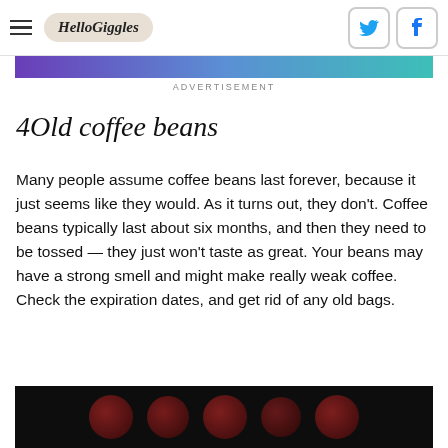HelloGiggles
ADVERTISEMENT
4Old coffee beans
Many people assume coffee beans last forever, because it just seems like they would. As it turns out, they don't. Coffee beans typically last about six months, and then they need to be tossed — they just won't taste as great. Your beans may have a strong smell and might make really weak coffee. Check the expiration dates, and get rid of any old bags.
[Figure (photo): Dark background image showing blurred dark red coffee beans or circles]